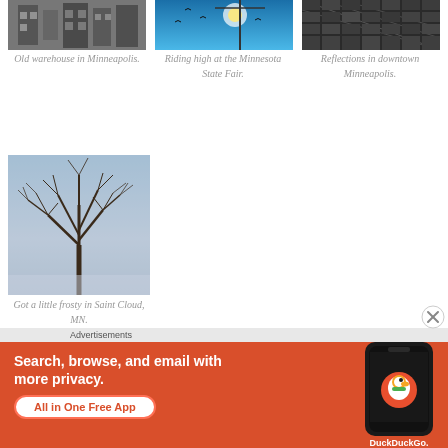[Figure (photo): Old black and white warehouse building photo (cropped top), Minneapolis]
[Figure (photo): Blue sky with birds at Minnesota State Fair, crane visible]
[Figure (photo): Reflections in glass facade of downtown Minneapolis building]
Old warehouse in Minneapolis.
Riding high at the Minnesota State Fair.
Reflections in downtown Minneapolis.
[Figure (photo): Winter tree branches against sky, frosty scene in Saint Cloud, MN]
Got a little frosty in Saint Cloud, MN.
Advertisements
[Figure (other): DuckDuckGo advertisement banner: Search, browse, and email with more privacy. All in One Free App. Shows phone with DuckDuckGo logo.]